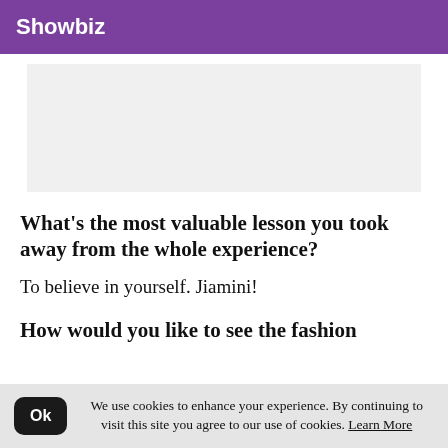Showbiz
[Figure (other): Gray advertisement placeholder box]
What’s the most valuable lesson you took away from the whole experience?
To believe in yourself. Jiamini!
How would you like to see the fashion
We use cookies to enhance your experience. By continuing to visit this site you agree to our use of cookies. Learn More